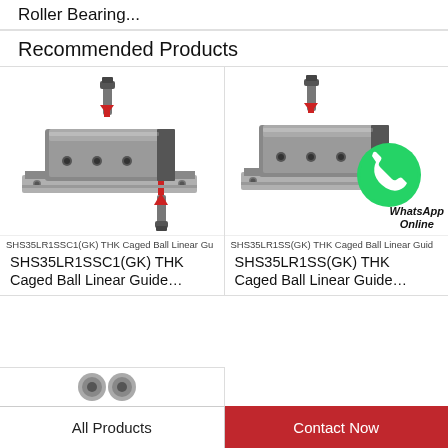Roller Bearing...
Recommended Products
[Figure (photo): SHS35LR1SSC1(GK) THK Caged Ball Linear Guide product photo with screws and red arrows]
SHS35LR1SSC1(GK) THK Caged Ball Linear Gu
SHS35LR1SSC1(GK) THK Caged Ball Linear Guide...
[Figure (photo): SHS35LR1SS(GK) THK Caged Ball Linear Guide product photo with WhatsApp Online badge]
SHS35LR1SS(GK) THK Caged Ball Linear Guid
SHS35LR1SS(GK) THK Caged Ball Linear Guide...
[Figure (photo): Partial product image at bottom]
All Products | Contact Now